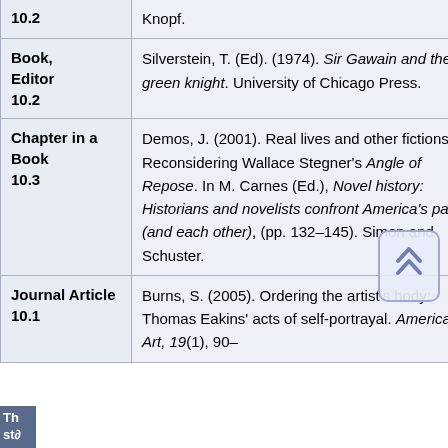| Type | Reference |
| --- | --- |
| 10.2 | Knopf. |
| Book, Editor 10.2 | Silverstein, T. (Ed). (1974). Sir Gawain and the green knight. University of Chicago Press. |
| Chapter in a Book 10.3 | Demos, J. (2001). Real lives and other fictions: Reconsidering Wallace Stegner's Angle of Repose. In M. Carnes (Ed.), Novel history: Historians and novelists confront America's past (and each other), (pp. 132–145). Simon and Schuster. |
| Journal Article 10.1 | Burns, S. (2005). Ordering the artist's body: Thomas Eakins' acts of self-portrayal. American Art, 19(1), 90– |